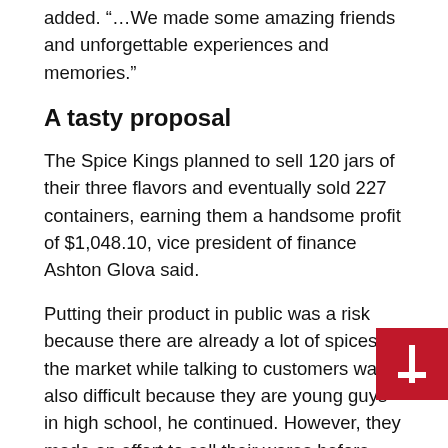added. “…We made some amazing friends and unforgettable experiences and memories.”
A tasty proposal
The Spice Kings planned to sell 120 jars of their three flavors and eventually sold 227 containers, earning them a handsome profit of $1,048.10, vice president of finance Ashton Glova said.
Putting their product in public was a risk because there are already a lot of spices on the market while talking to customers was also difficult because they are young guys in high school, he continued. However, they made an effort to sell their wares before Christmas and succeeded.
One of the challenges the company faced was making sure everyone was organized and had